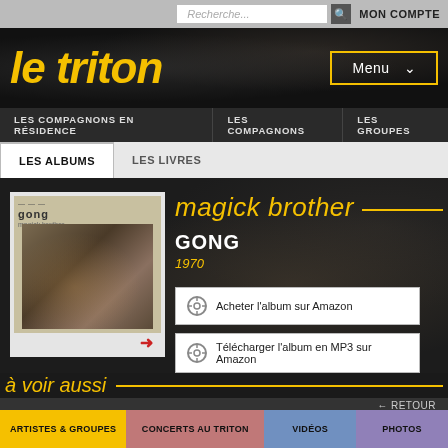Recherche... MON COMPTE
le triton
Menu
LES COMPAGNONS EN RÉSIDENCE  LES COMPAGNONS  LES GROUPES
LES ALBUMS  LES LIVRES
[Figure (photo): Album cover for 'Magick Brother' by Gong (1970), showing a white border with a small photo inside]
magick brother
GONG
1970
Acheter l'album sur Amazon
Télécharger l'album en MP3 sur Amazon
← RETOUR
à voir aussi
ARTISTES & GROUPES
CONCERTS AU TRITON
VIDÉOS
PHOTOS